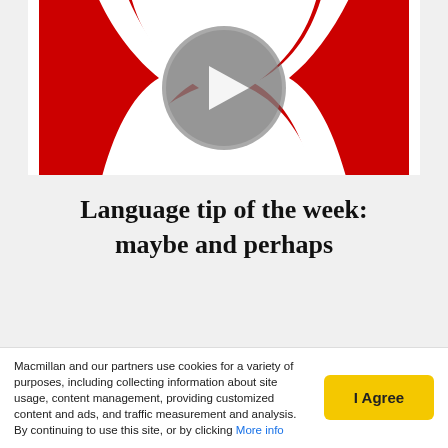[Figure (logo): Macmillan logo / play button icon — red wave shapes with a grey circle play button, partially cropped at top]
Language tip of the week:
maybe and perhaps
[Figure (logo): Macmillan logo / play button icon — red wave shapes with a grey circle play button, full view]
Macmillan and our partners use cookies for a variety of purposes, including collecting information about site usage, content management, providing customized content and ads, and traffic measurement and analysis. By continuing to use this site, or by clicking More info